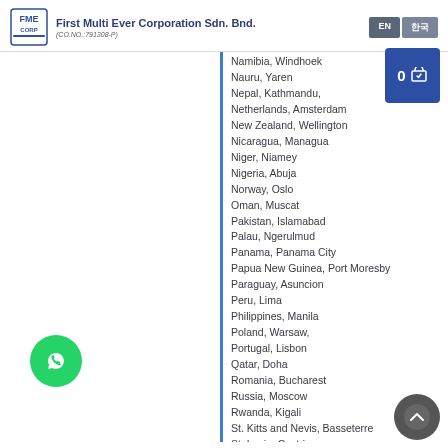First Multi Ever Corporation Sdn. Bnd. (CO.NO.:791308-P) | EN | 한국
Namibia, Windhoek
Nauru, Yaren
Nepal, Kathmandu,
Netherlands, Amsterdam
New Zealand, Wellington
Nicaragua, Managua
Niger, Niamey
Nigeria, Abuja
Norway, Oslo
Oman, Muscat
Pakistan, Islamabad
Palau, Ngerulmud
Panama, Panama City
Papua New Guinea, Port Moresby
Paraguay, Asuncion
Peru, Lima
Philippines, Manila
Poland, Warsaw,
Portugal, Lisbon
Qatar, Doha
Romania, Bucharest
Russia, Moscow
Rwanda, Kigali
St. Kitts and Nevis, Basseterre
St. Lucia, Castries
St. Vincent and The Grenadines, Kingstown